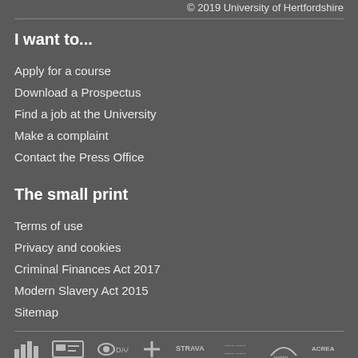© 2019 University of Hertfordshire
I want to...
Apply for a course
Download a Prospectus
Find a job at the University
Make a complaint
Contact the Press Office
The small print
Terms of use
Privacy and cookies
Criminal Finances Act 2017
Modern Slavery Act 2015
Sitemap
[Figure (logo): Row of institutional accreditation and partner logos at the bottom of the page]